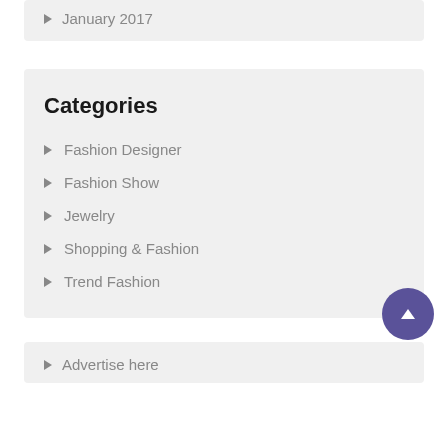January 2017
Categories
Fashion Designer
Fashion Show
Jewelry
Shopping & Fashion
Trend Fashion
Advertise here